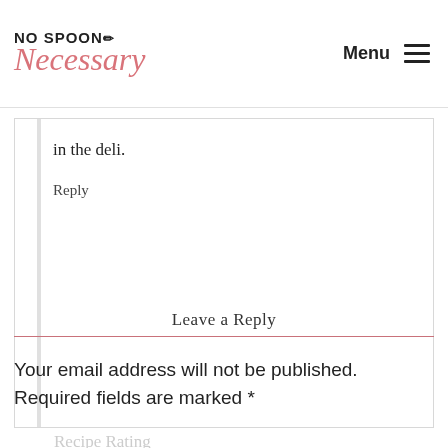No Spoon Necessary | Menu
in the deli.
Reply
Leave a Reply
Your email address will not be published. Required fields are marked *
Recipe Rating